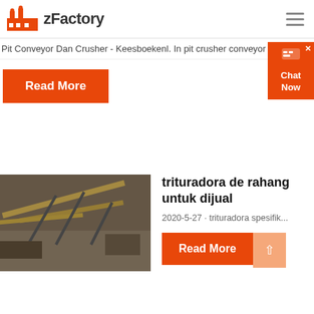[Figure (logo): zFactory logo with orange factory icon and bold text 'zFactory']
Pit Conveyor Dan Crusher - Keesboekenl. In pit crusher conveyor . by jac...
Read More
[Figure (photo): Aerial photo of industrial mining conveyor and crusher equipment at an open pit mine]
trituradora de rahang untuk dijual
2020-5-27 · trituradora spesifik...
Read More